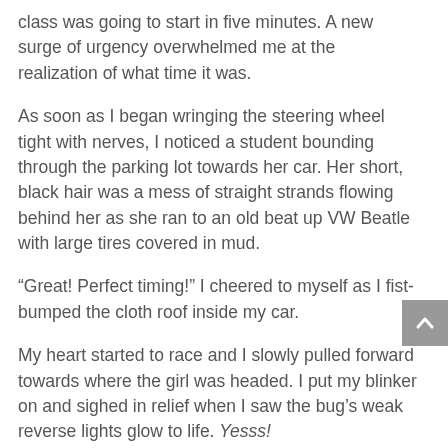class was going to start in five minutes.  A new surge of urgency overwhelmed me at the realization of what time it was.
As soon as I began wringing the steering wheel tight with nerves, I noticed a student bounding through the parking lot towards her car.  Her short, black hair was a mess of straight strands flowing behind her as she ran to an old beat up VW Beatle with large tires covered in mud.
“Great!  Perfect timing!”  I cheered to myself as I fist-bumped the cloth roof inside my car.
My heart started to race and I slowly pulled forward towards where the girl was headed.  I put my blinker on and sighed in relief when I saw the bug’s weak reverse lights glow to life.  Yesss!
The spot couldn’t have been better either, because it was only two rows away from the building and smack